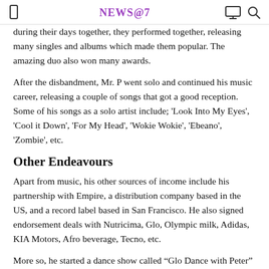NEWS@7
during their days together, they performed together, releasing many singles and albums which made them popular. The amazing duo also won many awards.
After the disbandment, Mr. P went solo and continued his music career, releasing a couple of songs that got a good reception. Some of his songs as a solo artist include; 'Look Into My Eyes', 'Cool it Down', 'For My Head', 'Wokie Wokie', 'Ebeano', 'Zombie', etc.
Other Endeavours
Apart from music, his other sources of income include his partnership with Empire, a distribution company based in the US, and a record label based in San Francisco. He also signed endorsement deals with Nutricima, Glo, Olympic milk, Adidas, KIA Motors, Afro beverage, Tecno, etc.
More so, he started a dance show called “Glo Dance with Peter” and runs a lottery club known as Zoom Lifestyle.